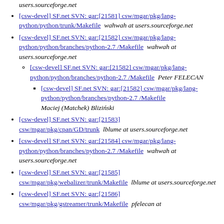users.sourceforge.net
[csw-devel] SF.net SVN: gar:[21581] csw/mgar/pkg/lang-python/python/trunk/Makefile   wahwah at users.sourceforge.net
[csw-devel] SF.net SVN: gar:[21582] csw/mgar/pkg/lang-python/python/branches/python-2.7 /Makefile   wahwah at users.sourceforge.net
[csw-devel] SF.net SVN: gar:[21582] csw/mgar/pkg/lang-python/python/branches/python-2.7 /Makefile   Peter FELECAN
[csw-devel] SF.net SVN: gar:[21582] csw/mgar/pkg/lang-python/python/branches/python-2.7 /Makefile   Maciej (Matchek) Bliziński
[csw-devel] SF.net SVN: gar:[21583] csw/mgar/pkg/cpan/GD/trunk   lblume at users.sourceforge.net
[csw-devel] SF.net SVN: gar:[21584] csw/mgar/pkg/lang-python/python/branches/python-2.7 /Makefile   wahwah at users.sourceforge.net
[csw-devel] SF.net SVN: gar:[21585] csw/mgar/pkg/webalizer/trunk/Makefile   lblume at users.sourceforge.net
[csw-devel] SF.net SVN: gar:[21586] csw/mgar/pkg/gstreamer/trunk/Makefile   pfelecan at